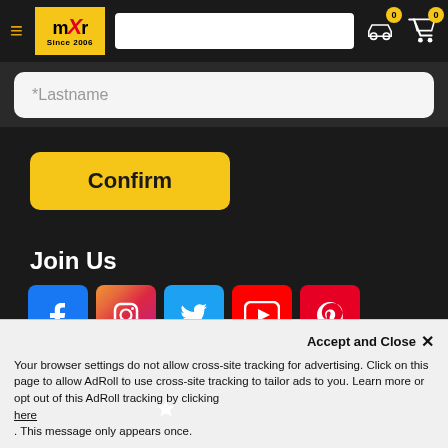[Figure (screenshot): mXr website header with hamburger menu, logo (mXr Since 2006 in yellow box), search bar, car icon with badge 0, cart icon with badge 0]
*Lastname
[Figure (other): Yellow 'Confirm' button]
Join Us
[Figure (other): Social media icons: Facebook, Instagram, Twitter, YouTube, Pinterest]
[Figure (other): Trustpilot rating with 4.5 stars]
We Accept
Accept and Close ✕
Your browser settings do not allow cross-site tracking for advertising. Click on this page to allow AdRoll to use cross-site tracking to tailor ads to you. Learn more or opt out of this AdRoll tracking by clicking here . This message only appears once.